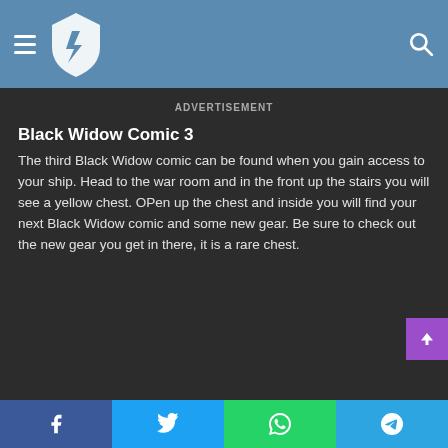Navigation header with logo and search icon
ADVERTISEMENT
Black Widow Comic 3
The third Black Widow comic can be found when you gain access to your ship. Head to the war room and in the front up the stairs you will see a yellow chest. OPen up the chest and inside you will find your next Black Widow comic and some new gear. Be sure to check out the new gear you get in there, it is a rare chest.
Social share bar: Facebook, Twitter, WhatsApp, Telegram